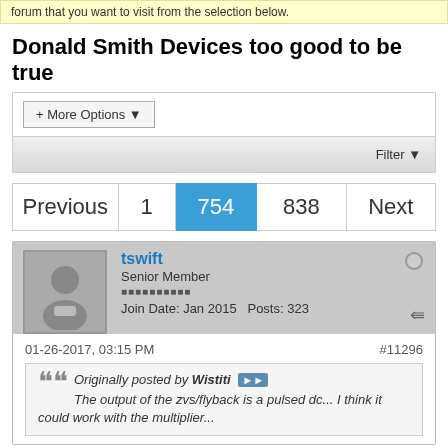forum that you want to visit from the selection below.
Donald Smith Devices too good to be true
[Figure (screenshot): + More Options dropdown button and Filter bar UI element]
[Figure (screenshot): Pagination bar: Previous | 1 | 754 (active) | 838 | Next]
[Figure (screenshot): Forum post by tswift, Senior Member, Join Date: Jan 2015, Posts: 323, posted 01-26-2017 03:15 PM, post #11296, quoting Wistiti: The output of the zvs/flyback is a pulsed dc... I think it could work with the multiplier...]